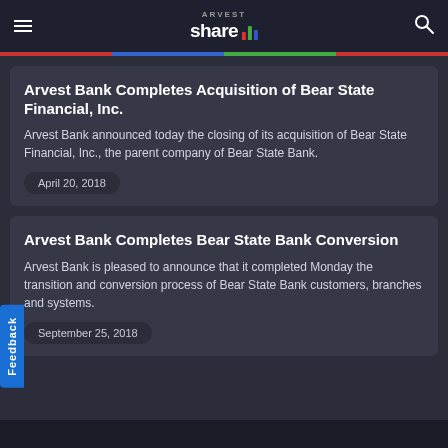ARVEST share (logo with bar chart icon)
Arvest Bank Completes Acquisition of Bear State Financial, Inc.
Arvest Bank announced today the closing of its acquisition of Bear State Financial, Inc., the parent company of Bear State Bank.
April 20, 2018
Arvest Bank Completes Bear State Bank Conversion
Arvest Bank is pleased to announce that it completed Monday the transition and conversion process of Bear State Bank customers, branches and systems.
September 25, 2018